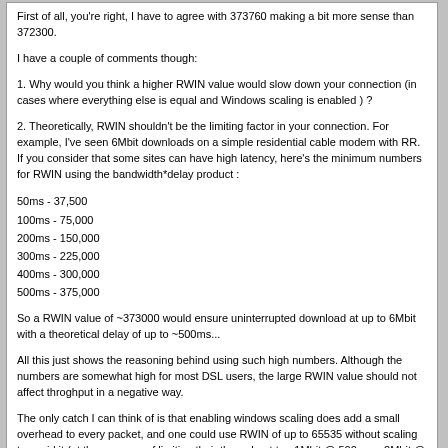First of all, you're right, I have to agree with 373760 making a bit more sense than 372300.
I have a couple of comments though:
1. Why would you think a higher RWIN value would slow down your connection (in cases where everything else is equal and Windows scaling is enabled ) ?
2. Theoretically, RWIN shouldn't be the limiting factor in your connection. For example, I've seen 6Mbit downloads on a simple residential cable modem with RR. If you consider that some sites can have high latency, here's the minimum numbers for RWIN using the bandwidth*delay product :
50ms - 37,500
100ms - 75,000
200ms - 150,000
300ms - 225,000
400ms - 300,000
500ms - 375,000
So a RWIN value of ~373000 would ensure uninterrupted download at up to 6Mbit with a theoretical delay of up to ~500ms...
All this just shows the reasoning behind using such high numbers. Although the numbers are somewhat high for most DSL users, the large RWIN value should not affect throghput in a negative way.
The only catch I can think of is that enabling windows scaling does add a small overhead to every packet, and one could use RWIN of up to 65535 without scaling to avoid it (at the expence of limiting their throughput to ~1Mbit @ 500ms, ~2Mbit @ ~250ms.)
Thanks for the excellent point rmucker, I will update the patches with a RWIN of 373760.
[This message has been edited by Philip (edited 10-20-2000).]